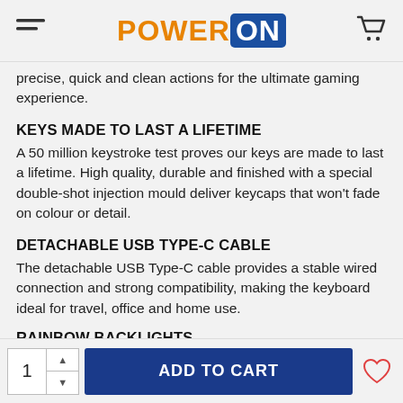POWER ON
precise, quick and clean actions for the ultimate gaming experience.
KEYS MADE TO LAST A LIFETIME
A 50 million keystroke test proves our keys are made to last a lifetime. High quality, durable and finished with a special double-shot injection mould deliver keycaps that won't fade on colour or detail.
DETACHABLE USB TYPE-C CABLE
The detachable USB Type-C cable provides a stable wired connection and strong compatibility, making the keyboard ideal for travel, office and home use.
RAINBOW BACKLIGHTS
1  ADD TO CART